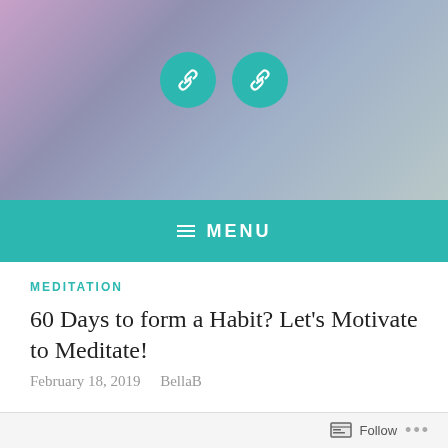[Figure (other): Two teal circular link/chain icons on a blurred purple-blue background header]
≡  MENU
MEDITATION
60 Days to form a Habit? Let's Motivate to Meditate!
February 18, 2019    BellaB
Deepok Chopra states that it takes 60 days for a habit to form. Did your lust for wanting to run every day just vanish from reading that? Is that not one of the most daunting things you've ever come across? You're not alone. I heard that one of his advice has been...
Follow